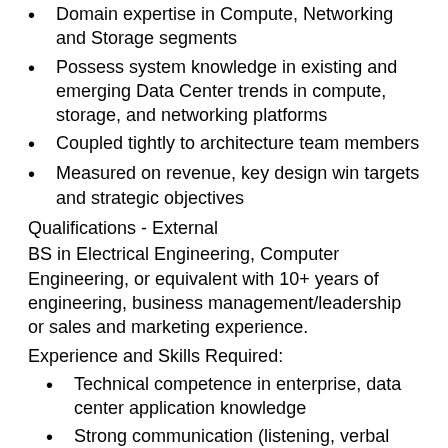Domain expertise in Compute, Networking and Storage segments
Possess system knowledge in existing and emerging Data Center trends in compute, storage, and networking platforms
Coupled tightly to architecture team members
Measured on revenue, key design win targets and strategic objectives
Qualifications - External
BS in Electrical Engineering, Computer Engineering, or equivalent with 10+ years of engineering, business management/leadership or sales and marketing experience.
Experience and Skills Required:
Technical competence in enterprise, data center application knowledge
Strong communication (listening, verbal and written) skills with an emphasis on technical